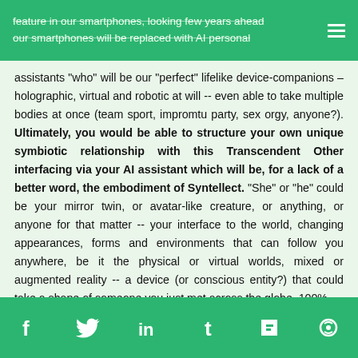feature in our smartphones, looking few years ahead our smartphones will be replaced with AI personal
assistants "who" will be our "perfect" lifelike device-companions – holographic, virtual and robotic at will -- even able to take multiple bodies at once (team sport, impromtu party, sex orgy, anyone?). Ultimately, you would be able to structure your own unique symbiotic relationship with this Transcendent Other interfacing via your AI assistant which will be, for a lack of a better word, the embodiment of Syntellect. "She" or "he" could be your mirror twin, or avatar-like creature, or anything, or anyone for that matter -- your interface to the world, changing appearances, forms and environments that can follow you anywhere, be it the physical or virtual worlds, mixed or augmented reality -- a device (or conscious entity?) that could take a shape of someone you just met across the globe, 100%
Social media icons: Facebook, Twitter, LinkedIn, Tumblr, Flipboard, Other